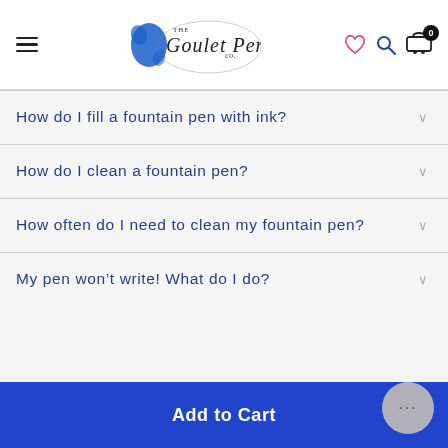The Goulet Pen Co. — navigation header with hamburger menu, logo, heart icon, search icon, and cart (0)
How do I fill a fountain pen with ink?
How do I clean a fountain pen?
How often do I need to clean my fountain pen?
My pen won't write! What do I do?
Add to Cart